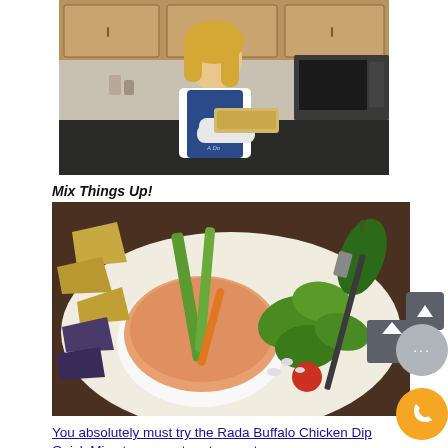[Figure (photo): Woman in kitchen wearing apron and oven mitts, holding a baking dish near a microwave and dark countertop with wood cabinets]
Mix Things Up!
[Figure (photo): Bowl of creamy Buffalo chicken dip with celery sticks and carrot dipping into it, surrounded by chips, vegetables including jalapenos and celery on a white plate]
You absolutely must try the Rada Buffalo Chicken Dip Quick Mix at your next party or get-